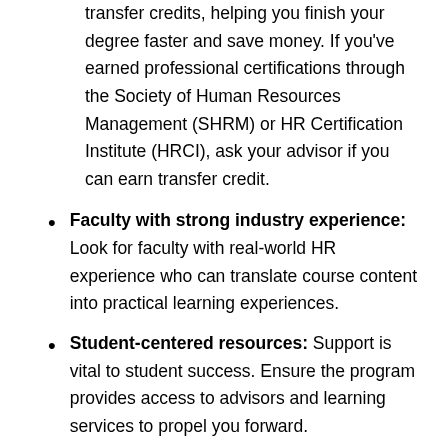transfer credits, helping you finish your degree faster and save money. If you've earned professional certifications through the Society of Human Resources Management (SHRM) or HR Certification Institute (HRCI), ask your advisor if you can earn transfer credit.
Faculty with strong industry experience: Look for faculty with real-world HR experience who can translate course content into practical learning experiences.
Student-centered resources: Support is vital to student success. Ensure the program provides access to advisors and learning services to propel you forward.